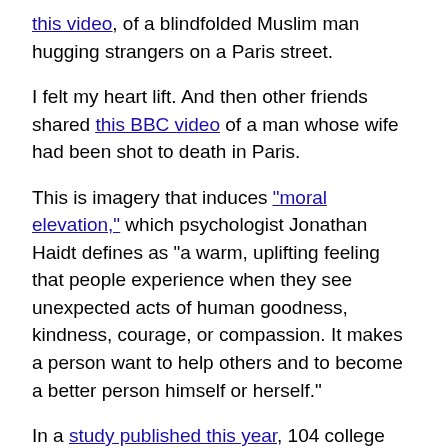this video, of a blindfolded Muslim man hugging strangers on a Paris street.
I felt my heart lift. And then other friends shared this BBC video of a man whose wife had been shot to death in Paris.
This is imagery that induces "moral elevation," which psychologist Jonathan Haidt defines as "a warm, uplifting feeling that people experience when they see unexpected acts of human goodness, kindness, courage, or compassion. It makes a person want to help others and to become a better person himself or herself."
In a study published this year, 104 college students watched videos depicting heroic or compassionate acts while researchers measured their heart rates and brain activity. They found that witnessing suffering triggered a stress response, but that then seeing suffering alleviated through a caring, selfless act produced a sense of relief the students felt throughout their bodies. The researchers